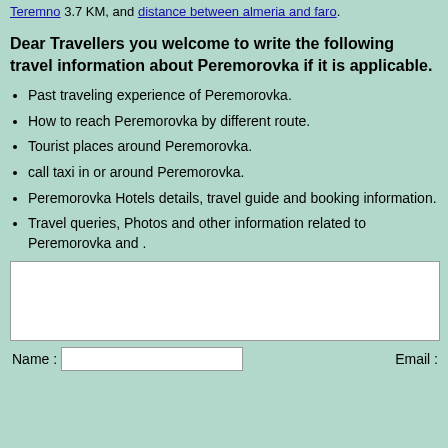Teremno 3.7 KM, and distance between almeria and faro.
Dear Travellers you welcome to write the following travel information about Peremorovka if it is applicable.
Past traveling experience of Peremorovka.
How to reach Peremorovka by different route.
Tourist places around Peremorovka.
call taxi in or around Peremorovka.
Peremorovka Hotels details, travel guide and booking information.
Travel queries, Photos and other information related to Peremorovka and .
[Figure (other): Text area input box (white rectangle form field)]
Name : [input field]   Email :